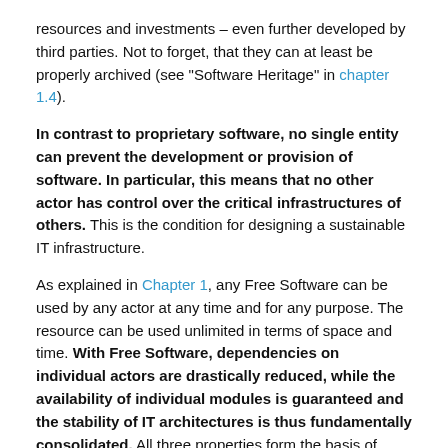resources and investments – even further developed by third parties. Not to forget, that they can at least be properly archived (see "Software Heritage" in chapter 1.4).
In contrast to proprietary software, no single entity can prevent the development or provision of software. In particular, this means that no other actor has control over the critical infrastructures of others. This is the condition for designing a sustainable IT infrastructure.
As explained in Chapter 1, any Free Software can be used by any actor at any time and for any purpose. The resource can be used unlimited in terms of space and time. With Free Software, dependencies on individual actors are drastically reduced, while the availability of individual modules is guaranteed and the stability of IT architectures is thus fundamentally consolidated. All three properties form the basis of sustainable digital infrastructures and digital sovereignty. Free software thus forms a basic component of sustainable IT systems.
(2.2) Free Software enables